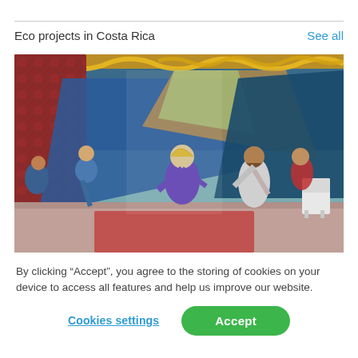Eco projects in Costa Rica
See all
[Figure (photo): People stretching or dancing under a colorful tarp/canopy decorated with gold garlands, at what appears to be an outdoor community event in Costa Rica.]
By clicking “Accept”, you agree to the storing of cookies on your device to access all features and help us improve our website.
Cookies settings
Accept